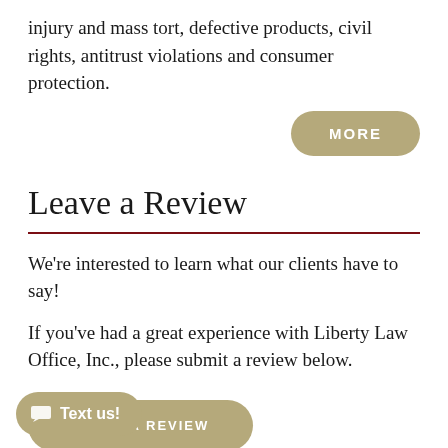injury and mass tort, defective products, civil rights, antitrust violations and consumer protection.
[Figure (other): Gold rounded rectangle button labeled 'MORE' in white uppercase letters]
Leave a Review
We're interested to learn what our clients have to say!
If you've had a great experience with Liberty Law Office, Inc., please submit a review below.
[Figure (other): Gold rounded rectangle button labeled 'LEAVE A REVIEW' in white uppercase letters]
[Figure (other): Gold rounded pill button with chat icon and 'Text us!' label]